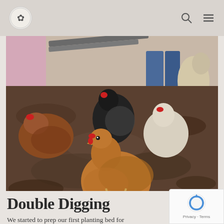Navigation header with logo, search icon, and menu icon
[Figure (photo): Several chickens pecking and scratching in freshly turned dark soil garden bed. Chickens of various colors — brown, black, and white. A person in jeans is visible in the background along with a fluffy light-colored dog and a wheelbarrow.]
Double Digging
We started to prep our first planting bed for